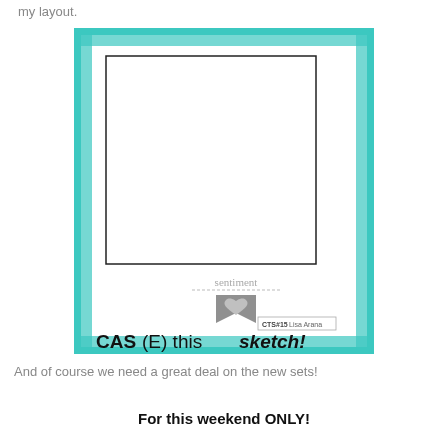my layout.
[Figure (illustration): CAS(E) this sketch card layout diagram with teal brushstroke border, inner black rectangle frame, sentiment label with dashed line and gray bookmark/heart icon, and 'CAS(E) this sketch!' branding at bottom. Label 'CTS#15 Lisa Arana' in small box.]
And of course we need a great deal on the new sets!
For this weekend ONLY!